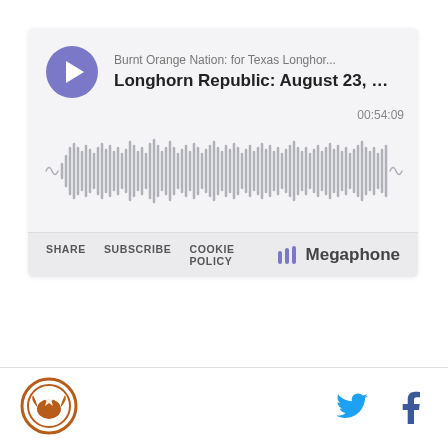[Figure (screenshot): Megaphone podcast player embed showing 'Burnt Orange Nation: for Texas Longhor...' podcast, episode 'Longhorn Republic: August 23, 2...' with audio waveform and timestamp 00:54:09. Footer shows SHARE, SUBSCRIBE, COOKIE POLICY links and Megaphone logo.]
[Figure (logo): Burnt Orange Nation circular logo with star and longhorn silhouette in orange/brown colors]
[Figure (other): Twitter bird icon in cyan blue]
[Figure (other): Facebook f icon in dark blue]